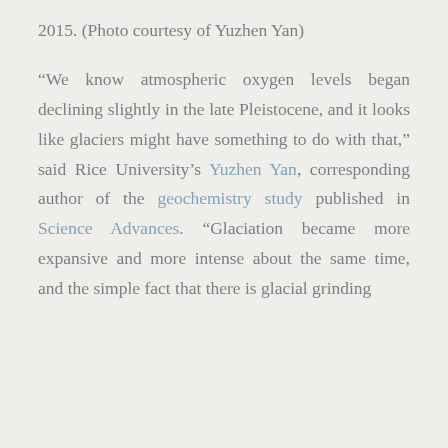2015. (Photo courtesy of Yuzhen Yan)
“We know atmospheric oxygen levels began declining slightly in the late Pleistocene, and it looks like glaciers might have something to do with that,” said Rice University’s Yuzhen Yan, corresponding author of the geochemistry study published in Science Advances. “Glaciation became more expansive and more intense about the same time, and the simple fact that there is glacial grinding